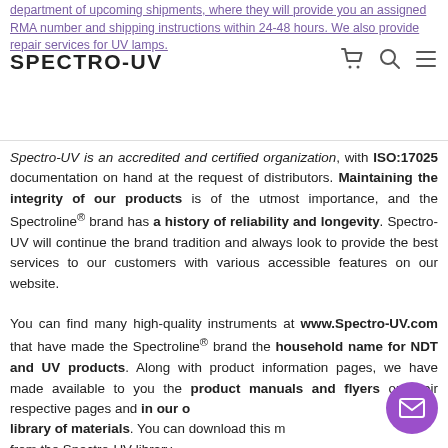department of upcoming shipments, where they will provide you an assigned RMA number and shipping instructions within 24-48 hours. We also provide repair services for UV lamps.
[Figure (logo): SPECTRO-UV logo with navigation icons (cart, search, menu)]
Spectro-UV is an accredited and certified organization, with ISO:17025 documentation on hand at the request of distributors. Maintaining the integrity of our products is of the utmost importance, and the Spectroline® brand has a history of reliability and longevity. Spectro-UV will continue the brand tradition and always look to provide the best services to our customers with various accessible features on our website.
You can find many high-quality instruments at www.Spectro-UV.com that have made the Spectroline® brand the household name for NDT and UV products. Along with product information pages, we have made available to you the product manuals and flyers on their respective pages and in our own library of materials. You can download this material from the Spectro-UV library.